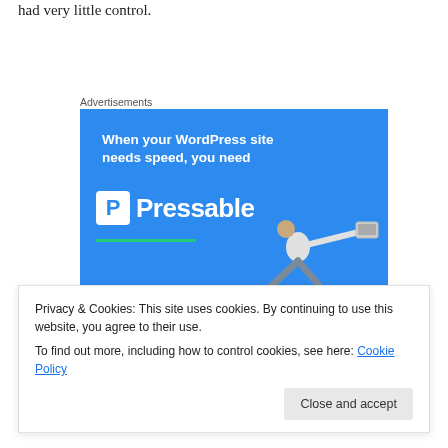had very little control.
Advertisements
[Figure (illustration): Pressable WordPress hosting advertisement banner with blue background, bold white text reading 'When your WordPress site needs speed, you need Pressable', green underline, and a person leaping with a laptop.]
Privacy & Cookies: This site uses cookies. By continuing to use this website, you agree to their use.
To find out more, including how to control cookies, see here: Cookie Policy
Close and accept